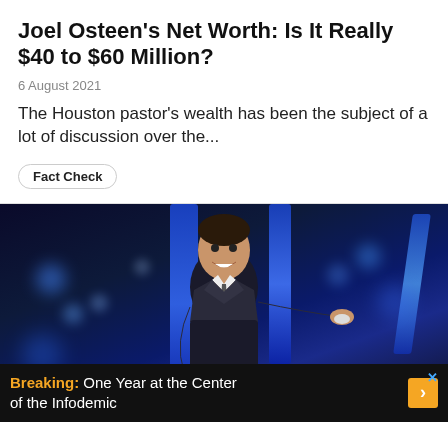Joel Osteen's Net Worth: Is It Really $40 to $60 Million?
6 August 2021
The Houston pastor's wealth has been the subject of a lot of discussion over the...
Fact Check
[Figure (photo): Joel Osteen standing on stage in a dark suit with striped tie, arms slightly extended, blue bokeh lights in the background]
Breaking: One Year at the Center of the Infodemic